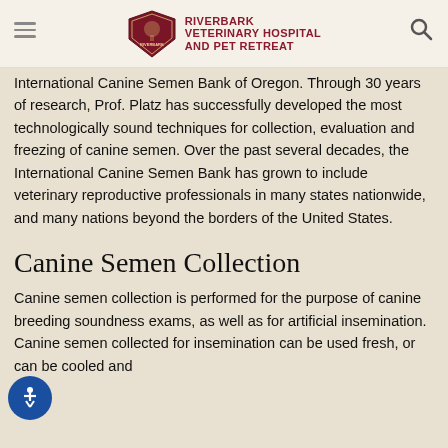RIVERBARK VETERINARY HOSPITAL AND PET RETREAT
International Canine Semen Bank of Oregon. Through 30 years of research, Prof. Platz has successfully developed the most technologically sound techniques for collection, evaluation and freezing of canine semen. Over the past several decades, the International Canine Semen Bank has grown to include veterinary reproductive professionals in many states nationwide, and many nations beyond the borders of the United States.
Canine Semen Collection
Canine semen collection is performed for the purpose of canine breeding soundness exams, as well as for artificial insemination. Canine semen collected for insemination can be used fresh, or can be cooled and